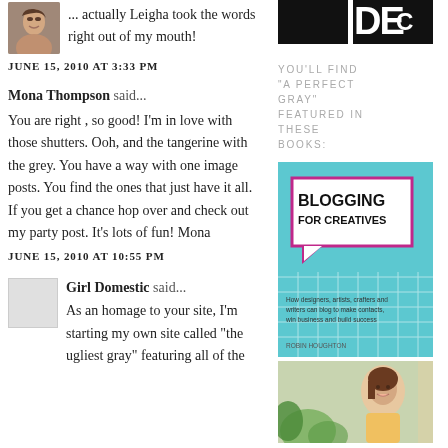[Figure (photo): Small avatar photo of a woman with short dark hair]
... actually Leigha took the words right out of my mouth!
JUNE 15, 2010 AT 3:33 PM
Mona Thompson said...
You are right , so good! I'm in love with those shutters. Ooh, and the tangerine with the grey. You have a way with one image posts. You find the ones that just have it all. If you get a chance hop over and check out my party post. It's lots of fun! Mona
JUNE 15, 2010 AT 10:55 PM
Girl Domestic said...
As an homage to your site, I'm starting my own site called "the ugliest gray" featuring all of the
[Figure (photo): Elle Decor magazine logo/masthead, white text on black background]
YOU'LL FIND "A PERFECT GRAY" FEATURED IN THESE BOOKS:
[Figure (photo): Book cover: Blogging for Creatives]
[Figure (photo): Photo of a smiling young woman with plants/greenery in background]